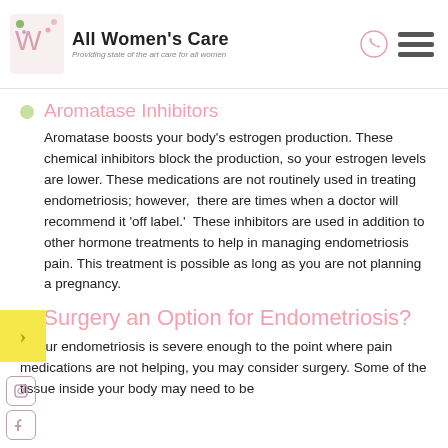All Women's Care — Providing state-of-the-art care for all women
Aromatase Inhibitors
Aromatase boosts your body's estrogen production. These chemical inhibitors block the production, so your estrogen levels are lower. These medications are not routinely used in treating endometriosis; however, there are times when a doctor will recommend it 'off label.' These inhibitors are used in addition to other hormone treatments to help in managing endometriosis pain. This treatment is possible as long as you are not planning a pregnancy.
Is Surgery an Option for Endometriosis?
If your endometriosis is severe enough to the point where pain medications are not helping, you may consider surgery. Some of the tissue inside your body may need to be